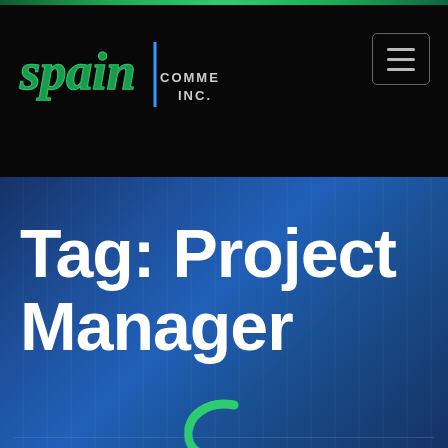[Figure (logo): Spain Commercial Inc. logo with stylized text in green/teal and white on black background, with a hamburger menu icon on the right]
Tag: Project Manager
[Figure (logo): Large stylized 'S' letter logo in green and blue, positioned at the junction of the blue banner and gray section]